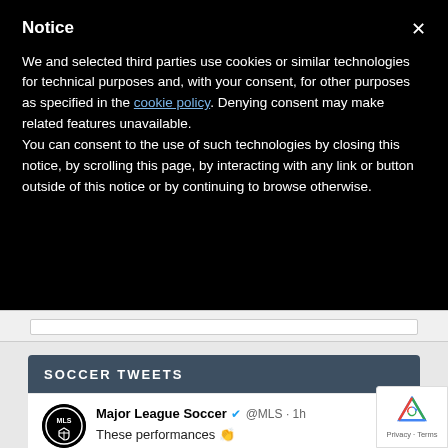Notice
We and selected third parties use cookies or similar technologies for technical purposes and, with your consent, for other purposes as specified in the cookie policy. Denying consent may make related features unavailable.
You can consent to the use of such technologies by closing this notice, by scrolling this page, by interacting with any link or button outside of this notice or by continuing to browse otherwise.
SOCCER TWEETS
Major League Soccer @MLS · 1h
These performances 👏

Vote for your smart choice Player of the W
⬇